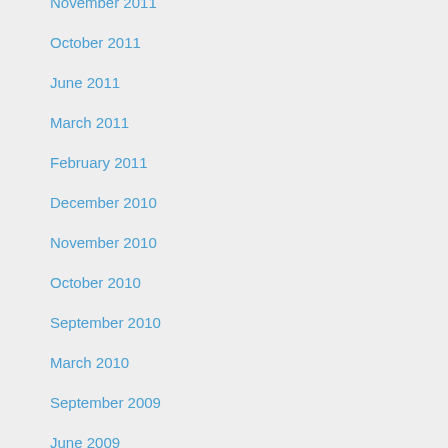November 2011
October 2011
June 2011
March 2011
February 2011
December 2010
November 2010
October 2010
September 2010
March 2010
September 2009
June 2009
April 2009
March 2009
February 2009